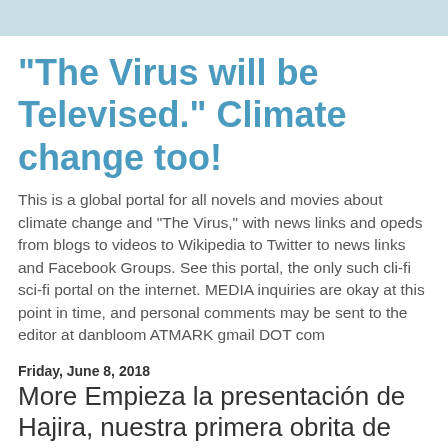"The Virus will be Televised." Climate change too!
This is a global portal for all novels and movies about climate change and "The Virus," with news links and opeds from blogs to videos to Wikipedia to Twitter to news links and Facebook Groups. See this portal, the only such cli-fi sci-fi portal on the internet. MEDIA inquiries are okay at this point in time, and personal comments may be sent to the editor at danbloom ATMARK gmail DOT com
Friday, June 8, 2018
More Empieza la presentación de Hajira, nuestra primera obrita de #clifi. ¡Tenemos una mesa de personas